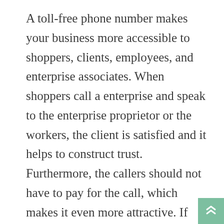A toll-free phone number makes your business more accessible to shoppers, clients, employees, and enterprise associates. When shoppers call a enterprise and speak to the enterprise proprietor or the workers, the client is satisfied and it helps to construct trust. Furthermore, the callers should not have to pay for the call, which makes it even more attractive. If prospects must pay for the calls, then they are going to be disinclined to call, because calls to buyer assist departments are infamous for his or her lengthy ready periods. Thus there may be no doubt that toll free numbers or the 800 numbers assist businesses to spice up their sales.